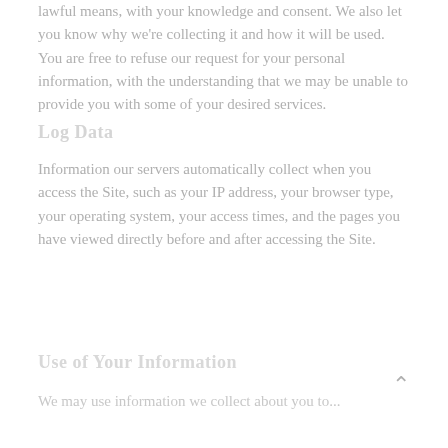lawful means, with your knowledge and consent. We also let you know why we're collecting it and how it will be used. You are free to refuse our request for your personal information, with the understanding that we may be unable to provide you with some of your desired services.
Log Data
Information our servers automatically collect when you access the Site, such as your IP address, your browser type, your operating system, your access times, and the pages you have viewed directly before and after accessing the Site.
Use of Your Information
We may use information we collect about you to...